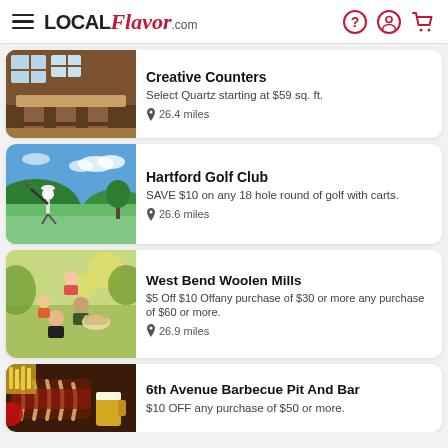LOCAL Flavor.com
Creative Counters — Select Quartz starting at $59 sq. ft. — 26.4 miles
Hartford Golf Club — SAVE $10 on any 18 hole round of golf with carts. — 26.6 miles
West Bend Woolen Mills — $5 Off $10 Offany purchase of $30 or more any purchase of $60 or more. — 26.9 miles
6th Avenue Barbecue Pit And Bar — $10 OFF any purchase of $50 or more.